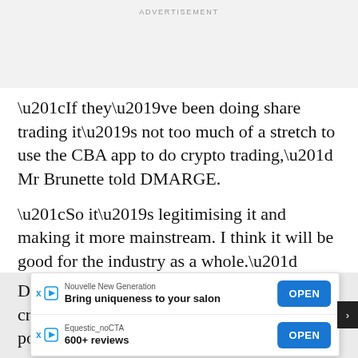ADVERTISEMENT
“If they’ve been doing share trading it’s not too much of a stretch to use the CBA app to do crypto trading,” Mr Brunette told DMARGE.
“So it’s legitimising it and making it more mainstream. I think it will be good for the industry as a whole.”
Despite … alian crypto… popula…
[Figure (screenshot): Two advertisement overlays: 1) Nouvelle New Generation - Bring uniqueness to your salon, with OPEN button. 2) Equestic_noCTA - 600+ reviews, with OPEN button.]